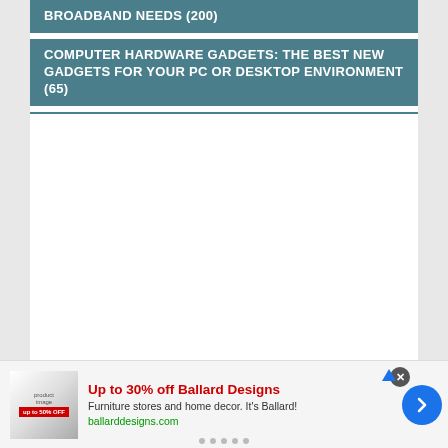BROADBAND NEEDS (200)
COMPUTER HARDWARE GADGETS: THE BEST NEW GADGETS FOR YOUR PC OR DESKTOP ENVIRONMENT (65)
[Figure (infographic): Advertisement banner: Up to 30% off Ballard Designs. Furniture stores and home decor. It's Ballard! ballarddesigns.com. Contains product image thumbnail, close button, forward navigation arrow button, and dot indicators.]